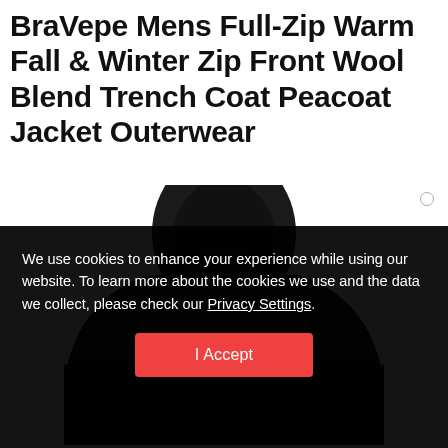BraVepe Mens Full-Zip Warm Fall & Winter Zip Front Wool Blend Trench Coat Peacoat Jacket Outerwear
[Figure (photo): Product photo of a dark navy/black wool blend trench coat peacoat jacket with hood, shown from the front upper body area on a white background.]
We use cookies to enhance your experience while using our website. To learn more about the cookies we use and the data we collect, please check our Privacy Settings.